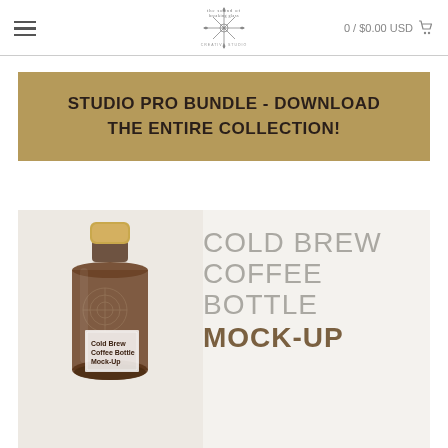0 / $0.00 USD
STUDIO PRO BUNDLE - DOWNLOAD THE ENTIRE COLLECTION!
[Figure (photo): Cold Brew Coffee Bottle Mock-Up product image showing a dark brown glass bottle with gold cap on the left, and large text reading COLD BREW COFFEE BOTTLE MOCK-UP on the right against a light beige background.]